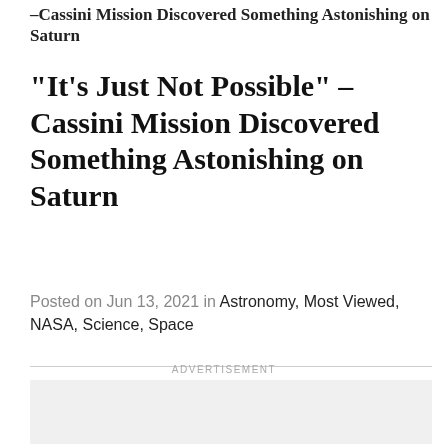–Cassini Mission Discovered Something Astonishing on Saturn
“It’s Just Not Possible” –Cassini Mission Discovered Something Astonishing on Saturn
Posted on Jun 13, 2021 in Astronomy, Most Viewed, NASA, Science, Space
ADVERTISEMENT